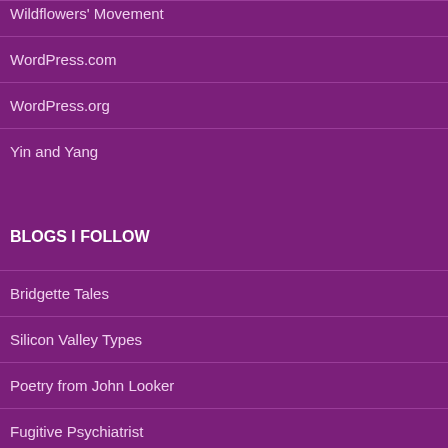Wildflowers' Movement
WordPress.com
WordPress.org
Yin and Yang
BLOGS I FOLLOW
Bridgette Tales
Silicon Valley Types
Poetry from John Looker
Fugitive Psychiatrist
Polyglottes
Art by Daz